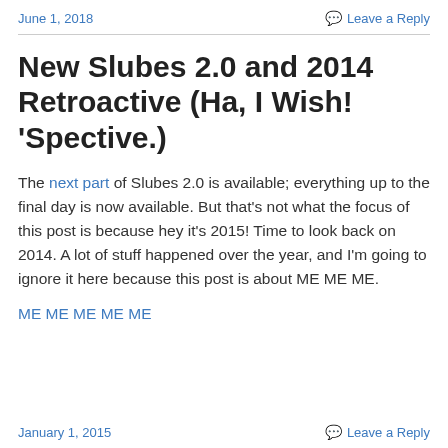June 1, 2018   Leave a Reply
New Slubes 2.0 and 2014 Retroactive (Ha, I Wish! 'Spective.)
The next part of Slubes 2.0 is available; everything up to the final day is now available. But that's not what the focus of this post is because hey it's 2015! Time to look back on 2014. A lot of stuff happened over the year, and I'm going to ignore it here because this post is about ME ME ME.
ME ME ME ME ME
January 1, 2015   Leave a Reply